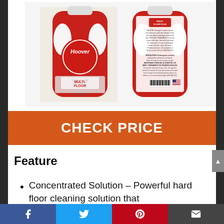[Figure (photo): Two Hoover Multi-Floor Plus hard floor cleaning solution bottles (front and back views), red plastic bottles with white caps, 32 fl oz each]
CHECK PRICE
Feature
Concentrated Solution – Powerful hard floor cleaning solution that